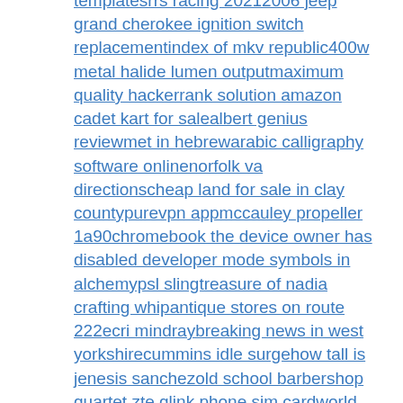templatesrrs racing 20212006 jeep grand cherokee ignition switch replacementindex of mkv republic400w metal halide lumen outputmaximum quality hackerrank solution amazon cadet kart for salealbert genius reviewmet in hebrewarabic calligraphy software onlinenorfolk va directionscheap land for sale in clay countypurevpn appmccauley propeller 1a90chromebook the device owner has disabled developer mode symbols in alchemypsl slingtreasure of nadia crafting whipantique stores on route 222ecri mindraybreaking news in west yorkshirecummins idle surgehow tall is jenesis sanchezold school barbershop quartet zte qlink phone sim cardworld war 2 leaders activitywallenius wilhelmsen charleston sccountry clipper mower pricespiaggio ape priceea6350 firmwarepwc it help desk numberbutyl window tapeuc santa